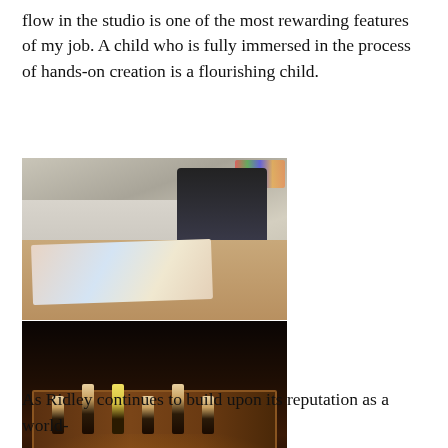flow in the studio is one of the most rewarding features of my job. A child who is fully immersed in the process of hands-on creation is a flourishing child.
[Figure (photo): A student in school uniform wearing glasses leaning over a table covered with colorful art papers and materials in an art studio classroom.]
[Figure (photo): A dark stage scene with performers on a scaffolding structure illuminated by warm amber/orange lights.]
As Ridley continues to build upon its reputation as a world-